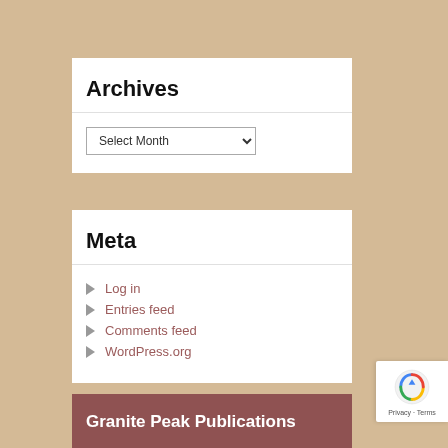Select Category (dropdown)
Archives
Select Month (dropdown)
Meta
Log in
Entries feed
Comments feed
WordPress.org
Granite Peak Publications